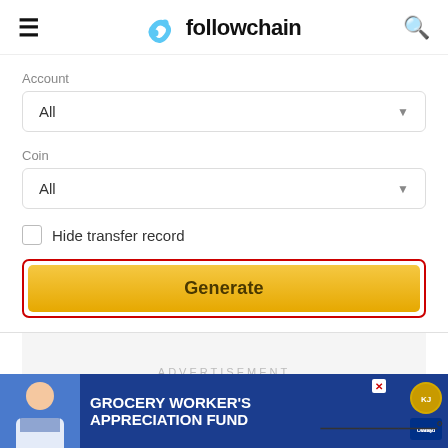followchain
Account
All
Coin
All
Hide transfer record
Generate
ADVERTISEMENT
[Figure (screenshot): Bottom advertisement banner for Grocery Worker's Appreciation Fund featuring Kendall Jackson and United Way logos, with a person image on the left side.]